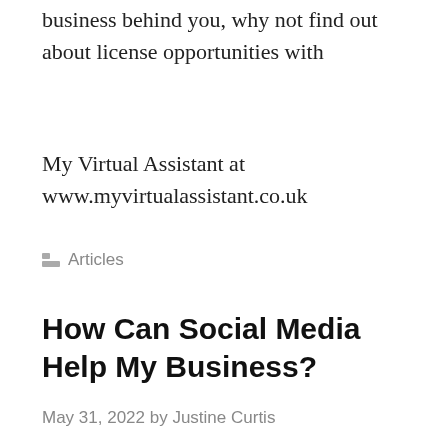business behind you, why not find out about license opportunities with
My Virtual Assistant at www.myvirtualassistant.co.uk
Articles
How Can Social Media Help My Business?
May 31, 2022 by Justine Curtis